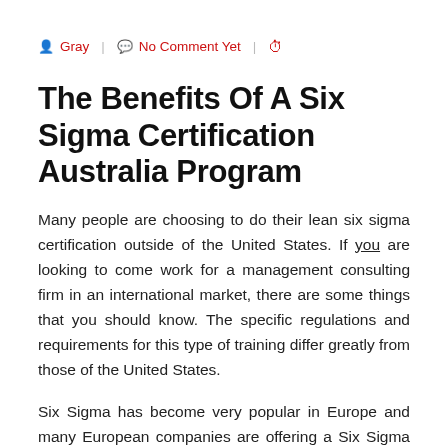Gray | No Comment Yet | (clock icon)
The Benefits Of A Six Sigma Certification Australia Program
Many people are choosing to do their lean six sigma certification outside of the United States. If you are looking to come work for a management consulting firm in an international market, there are some things that you should know. The specific regulations and requirements for this type of training differ greatly from those of the United States.
Six Sigma has become very popular in Europe and many European companies are offering a Six Sigma Certification